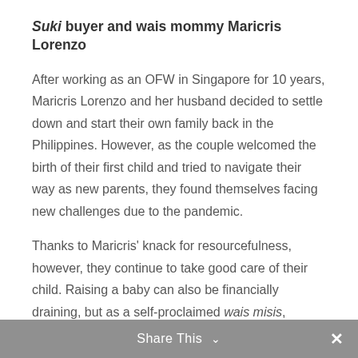Suki buyer and wais mommy Maricris Lorenzo
After working as an OFW in Singapore for 10 years, Maricris Lorenzo and her husband decided to settle down and start their own family back in the Philippines. However, as the couple welcomed the birth of their first child and tried to navigate their way as new parents, they found themselves facing new challenges due to the pandemic.
Thanks to Maricris' knack for resourcefulness, however, they continue to take good care of their child. Raising a baby can also be financially draining, but as a self-proclaimed wais misis, Maricris finds ways to get the best deals and value for her money. She admits that almost all of their basic essentials and baby needs are from Shopee. She was such a frequent shopper, she even went on to forge a strong friendship with her suki Shopee Xpress rider.
The riders offer a lot in helping her...